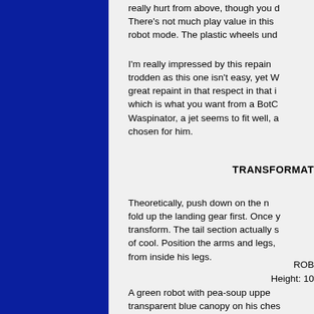really hurt from above, though you d... There's not much play value in this ... robot mode. The plastic wheels und...
I'm really impressed by this repain... trodden as this one isn't easy, yet W... great repaint in that respect in that i... which is what you want from a BotC... Waspinator, a jet seems to fit well, a... chosen for him.
TRANSFORMAT...
Theoretically, push down on the n... fold up the landing gear first. Once y... transform. The tail section actually s... of cool. Position the arms and legs, ... from inside his legs.
ROB...
Height: 10...
A green robot with pea-soup uppe... transparent blue canopy on his ches... has a poor lightpipe). There is again...